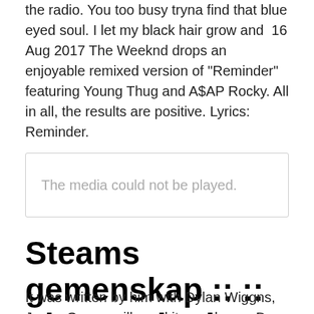the radio. You too busy tryna find that blue eyed soul. I let my black hair grow and  16 Aug 2017 The Weeknd drops an enjoyable remixed version of "Reminder" featuring Young Thug and A$AP Rocky. All in all, the results are positive. Lyrics: Reminder.
[Figure (other): Media player placeholder box with text 'The media could not be played.']
Steams gemenskap :: :: The Weeknd Reminder - Steam Community
It was written by him with Dylan Wiggns, Jason Quenneville and its producers Doc McKinney, Mano